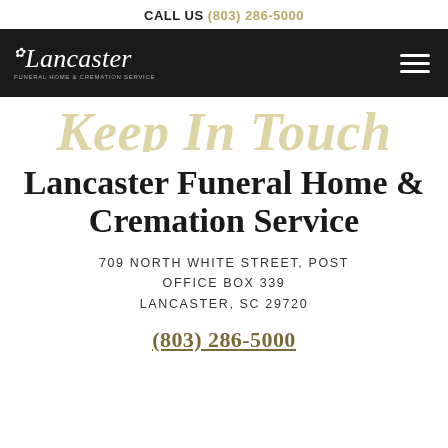CALL US (803) 286-5000
[Figure (logo): Lancaster Funeral Home & Cremation Service logo in white script on dark navigation bar, with hamburger menu icon on right]
Keep In Touch
Lancaster Funeral Home & Cremation Service
709 NORTH WHITE STREET, POST OFFICE BOX 339
LANCASTER, SC 29720
(803) 286-5000